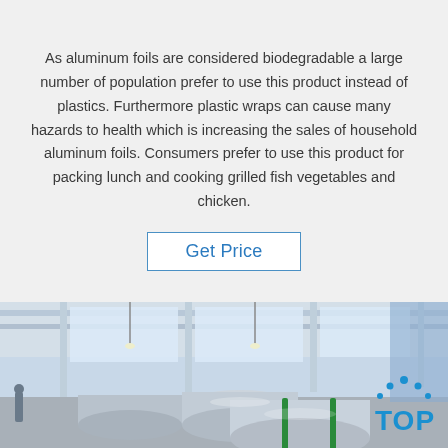As aluminum foils are considered biodegradable a large number of population prefer to use this product instead of plastics. Furthermore plastic wraps can cause many hazards to health which is increasing the sales of household aluminum foils. Consumers prefer to use this product for packing lunch and cooking grilled fish vegetables and chicken.
Get Price
[Figure (photo): Industrial warehouse interior with large rolls of aluminum foil stacked on the floor, with green straps around them. Overhead lighting, structural beams and large windows visible in background. A TOP logo badge overlays the bottom-right corner.]